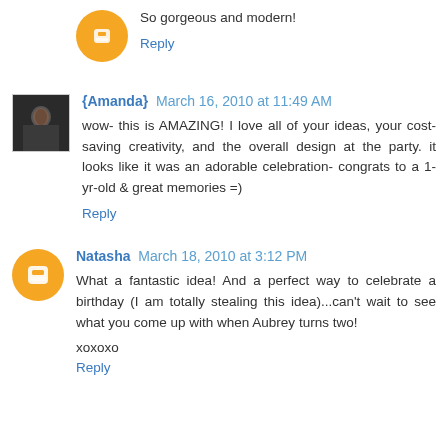So gorgeous and modern!
Reply
{Amanda} March 16, 2010 at 11:49 AM
wow- this is AMAZING! I love all of your ideas, your cost-saving creativity, and the overall design at the party. it looks like it was an adorable celebration- congrats to a 1-yr-old & great memories =)
Reply
Natasha March 18, 2010 at 3:12 PM
What a fantastic idea! And a perfect way to celebrate a birthday (I am totally stealing this idea)...can't wait to see what you come up with when Aubrey turns two!
xoxoxo
Reply